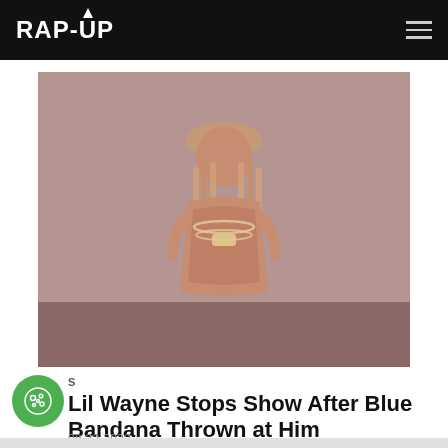RAP-UP
[Figure (photo): A performer with long dreadlocks and a sleeveless shirt, wearing large chain necklaces, photographed on a dimly lit stage with a gray-pink hue background. Appears to be Lil Wayne.]
Lil Wayne Stops Show After Blue Bandana Thrown at Him
08.22.2022